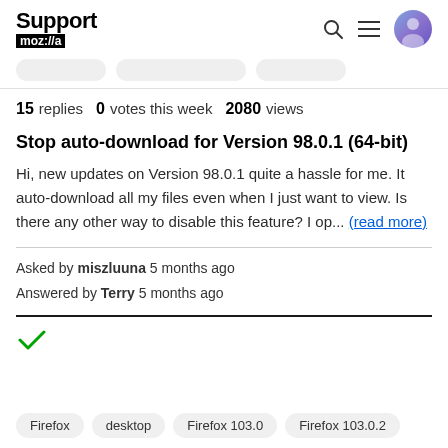Support moz://a
15 replies  0 votes this week  2080 views
Stop auto-download for Version 98.0.1 (64-bit)
Hi, new updates on Version 98.0.1 quite a hassle for me. It auto-download all my files even when I just want to view. Is there any other way to disable this feature? I op... (read more)
Asked by miszluuna 5 months ago
Answered by Terry 5 months ago
[Figure (other): Green checkmark indicating resolved/answered]
Firefox  desktop  Firefox 103.0  Firefox 103.0.2